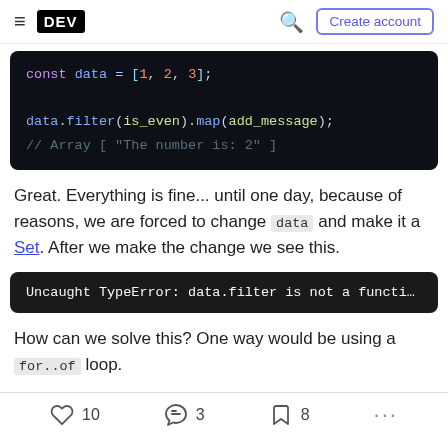DEV | Create account
[Figure (screenshot): Dark code block showing: const data = [1, 2, 3]; followed by data.filter(is_even).map(add_message); // Array [ "The number is: 2" ]]
Great. Everything is fine... until one day, because of reasons, we are forced to change data and make it a Set. After we make the change we see this.
[Figure (screenshot): Dark error block showing: Uncaught TypeError: data.filter is not a functi...]
How can we solve this? One way would be using a for..of loop.
10 likes  3 reactions  8 bookmarks